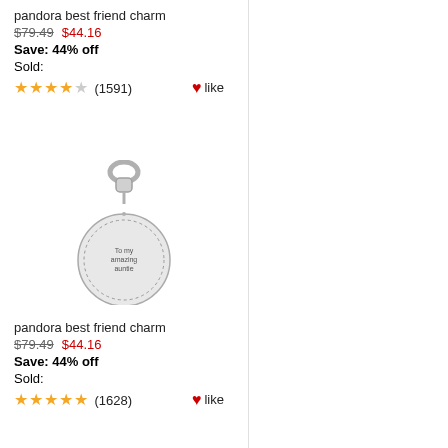pandora best friend charm
$79.49  $44.16
Save: 44% off
Sold:
★★★★☆ (1591)  ♥like
[Figure (photo): Silver Pandora charm pendant with circular disc engraved 'To my amazing auntie', with a bail/clip at the top]
pandora best friend charm
$79.49  $44.16
Save: 44% off
Sold:
★★★★★ (1628)  ♥like